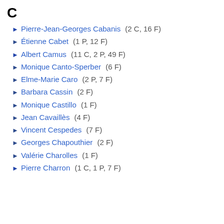C
▶ Pierre-Jean-Georges Cabanis (2 C, 16 F)
► Étienne Cabet (1 P, 12 F)
▶ Albert Camus (11 C, 2 P, 49 F)
► Monique Canto-Sperber (6 F)
► Elme-Marie Caro (2 P, 7 F)
► Barbara Cassin (2 F)
► Monique Castillo (1 F)
► Jean Cavaillès (4 F)
► Vincent Cespedes (7 F)
► Georges Chapouthier (2 F)
► Valérie Charolles (1 F)
► Pierre Charron (1 C, 1 P, 7 F)